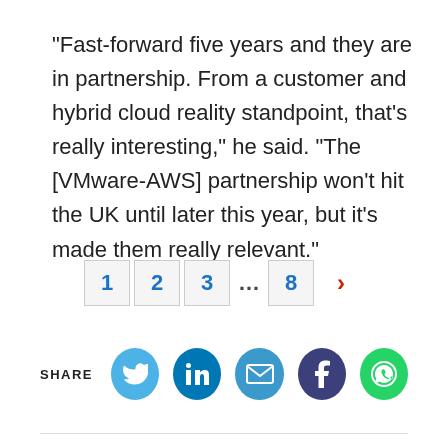"Fast-forward five years and they are in partnership. From a customer and hybrid cloud reality standpoint, that's really interesting," he said. "The [VMware-AWS] partnership won't hit the UK until later this year, but it's made them really relevant."
[Figure (other): Pagination controls showing pages 1, 2, 3, ..., 8 with a right arrow]
[Figure (other): Share buttons row with SHARE label and social media icons: Twitter, LinkedIn, Email, Facebook, WhatsApp]